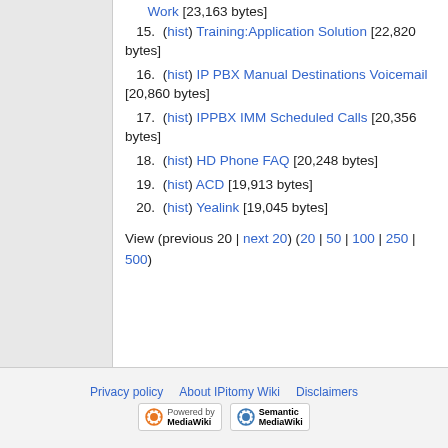Work [23,163 bytes]
15. (hist) Training:Application Solution [22,820 bytes]
16. (hist) IP PBX Manual Destinations Voicemail [20,860 bytes]
17. (hist) IPPBX IMM Scheduled Calls [20,356 bytes]
18. (hist) HD Phone FAQ [20,248 bytes]
19. (hist) ACD [19,913 bytes]
20. (hist) Yealink [19,045 bytes]
View (previous 20 | next 20) (20 | 50 | 100 | 250 | 500)
Privacy policy   About IPitomy Wiki   Disclaimers